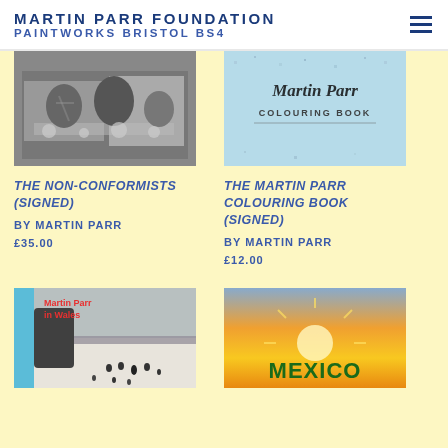MARTIN PARR FOUNDATION
PAINTWORKS BRISTOL BS4
[Figure (photo): Black and white photograph showing people at a table outdoors, book cover for The Non-Conformists]
[Figure (photo): Blue cover of The Martin Parr Colouring Book with handwritten title]
THE NON-CONFORMISTS (SIGNED)
BY MARTIN PARR
£35.00
THE MARTIN PARR COLOURING BOOK (SIGNED)
BY MARTIN PARR
£12.00
[Figure (photo): Book cover: Martin Parr in Wales, with people walking on snowy beach, light blue spine]
[Figure (photo): Book cover showing MEXICO in large green letters on a sunset sky background]